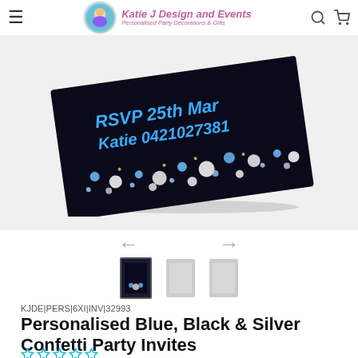Katie J Design and Events — Personalised Party Decorations & Gifts
[Figure (photo): Product photo of a personalised blue, black and silver confetti party invite card, shown at an angle on a light grey background. The card is dark/black with blue text reading RSVP 25th Mar... Katie 0421027381, decorated with blue and silver/white confetti dots.]
[Figure (photo): Three small thumbnail images of the party invite product below navigation arrows.]
KJDE|PERS|6XI|INV|32993
Personalised Blue, Black & Silver Confetti Party Invites
☆☆☆☆☆
$15.00 AUD